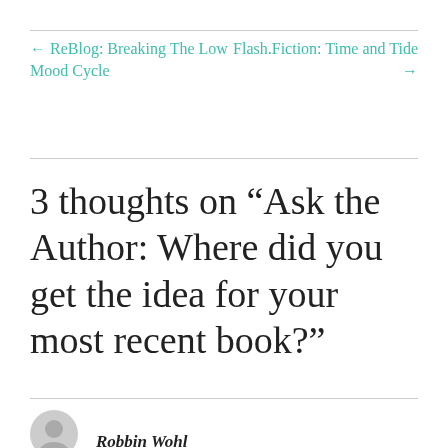← ReBlog: Breaking The Low Mood Cycle
Flash.Fiction: Time and Tide →
3 thoughts on “Ask the Author: Where did you get the idea for your most recent book?”
Robbin Wohl